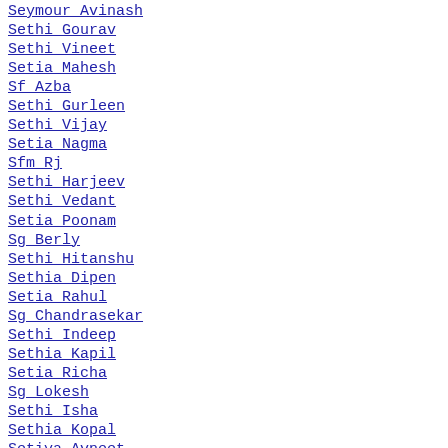Seymour Avinash
Sethi Gourav
Sethi Vineet
Setia Mahesh
Sf Azba
Sethi Gurleen
Sethi Vijay
Setia Nagma
Sfm Rj
Sethi Harjeev
Sethi Vedant
Setia Poonam
Sg Berly
Sethi Hitanshu
Sethia Dipen
Setia Rahul
Sg Chandrasekar
Sethi Indeep
Sethia Kapil
Setia Richa
Sg Lokesh
Sethi Isha
Sethia Kopal
Setiya Avneet
Sg Praveen